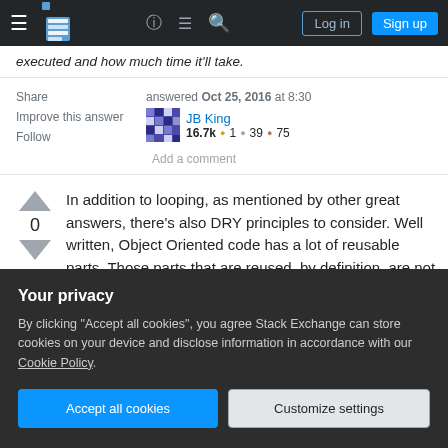Stack Exchange navigation bar with Log in and Sign up buttons
executed and how much time it'll take.
Share  Improve this answer  Follow
answered Oct 25, 2016 at 8:30
JB King
16.7k ● 1 ● 39 ● 75
Add a comment
In addition to looping, as mentioned by other great answers, there's also DRY principles to consider. Well written, Object Oriented code has a lot of reusable parts. Those parts that are reused, by definition, are not the costliest ones — often
Your privacy
By clicking "Accept all cookies", you agree Stack Exchange can store cookies on your device and disclose information in accordance with our Cookie Policy.
Accept all cookies   Customize settings
As mentioned in other answers, it is probably better to spend effort making the code that is used more